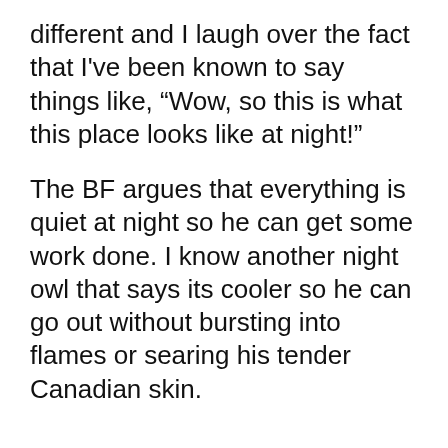different and I laugh over the fact that I've been known to say things like, “Wow, so this is what this place looks like at night!”
The BF argues that everything is quiet at night so he can get some work done. I know another night owl that says its cooler so he can go out without bursting into flames or searing his tender Canadian skin.